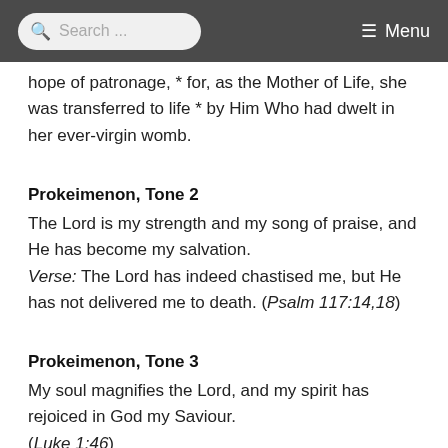Search ... Menu
hope of patronage, * for, as the Mother of Life, she was transferred to life * by Him Who had dwelt in her ever-virgin womb.
Prokeimenon, Tone 2
The Lord is my strength and my song of praise, and He has become my salvation.
Verse: The Lord has indeed chastised me, but He has not delivered me to death. (Psalm 117:14,18)
Prokeimenon, Tone 3
My soul magnifies the Lord, and my spirit has rejoiced in God my Saviour.
(Luke 1:46)